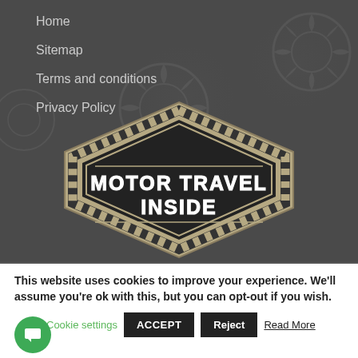Home
Sitemap
Terms and conditions
Privacy Policy
[Figure (logo): Motor Travel Inside logo — hexagonal badge shape with checkered pattern border, bold gothic lettering 'MOTOR TRAVEL INSIDE' on dark background with tan/beige border]
This website uses cookies to improve your experience. We'll assume you're ok with this, but you can opt-out if you wish.
Cookie settings   ACCEPT   Reject   Read More